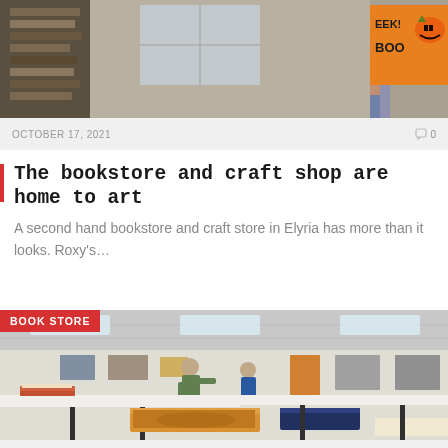[Figure (photo): Person holding a book in a bookstore with Halloween decorations visible in background]
OCTOBER 17, 2021
0
The bookstore and craft shop are home to art
A second hand bookstore and craft store in Elyria has more than it looks. Roxy's…
[Figure (photo): Interior of a bookstore with long white tables covered with books, people browsing, and artwork on the walls]
BOOK STORE
OCTOBER 11, 2021
0